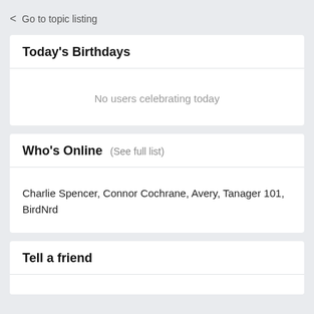< Go to topic listing
Today's Birthdays
No users celebrating today
Who's Online (See full list)
Charlie Spencer, Connor Cochrane, Avery, Tanager 101, BirdNrd
Tell a friend